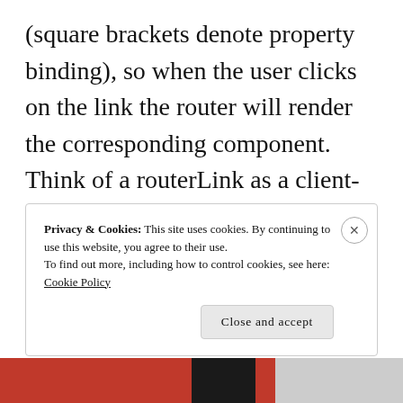(square brackets denote property binding), so when the user clicks on the link the router will render the corresponding component. Think of a routerLink as a client-side replacement for the href attribute of the HTML anchor tag.
Privacy & Cookies: This site uses cookies. By continuing to use this website, you agree to their use.
To find out more, including how to control cookies, see here:
Cookie Policy
Close and accept